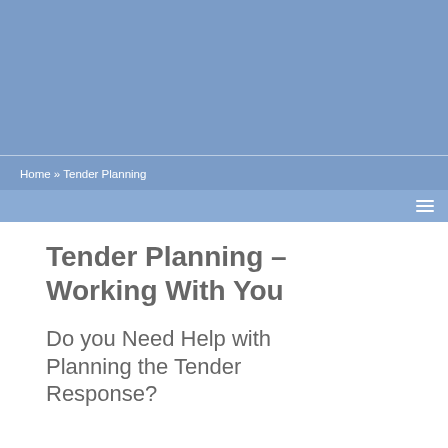Home » Tender Planning
Tender Planning – Working With You
Do you Need Help with Planning the Tender Response?